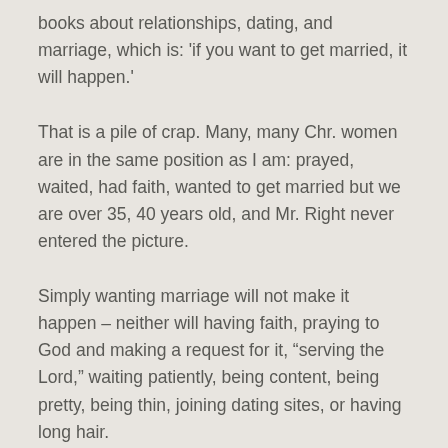books about relationships, dating, and marriage, which is: 'if you want to get married, it will happen.'
That is a pile of crap. Many, many Chr. women are in the same position as I am: prayed, waited, had faith, wanted to get married but we are over 35, 40 years old, and Mr. Right never entered the picture.
Simply wanting marriage will not make it happen – neither will having faith, praying to God and making a request for it, “serving the Lord,” waiting patiently, being content, being pretty, being thin, joining dating sites, or having long hair.
There is no simple recipe, there is no formula, that guarantees anyone and everyone who wants one, a